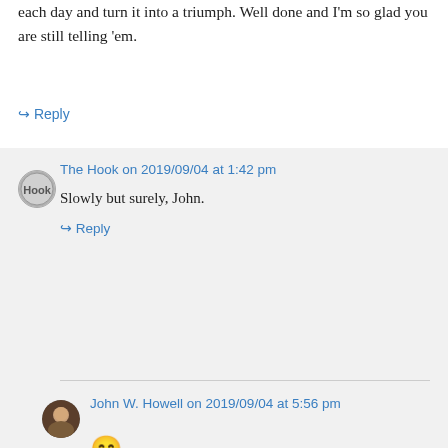each day and turn it into a triumph. Well done and I'm so glad you are still telling 'em.
↳ Reply
The Hook on 2019/09/04 at 1:42 pm
Slowly but surely, John.
↳ Reply
John W. Howell on 2019/09/04 at 5:56 pm
😊